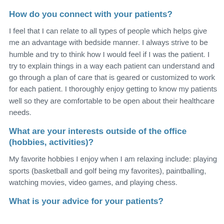How do you connect with your patients?
I feel that I can relate to all types of people which helps give me an advantage with bedside manner. I always strive to be humble and try to think how I would feel if I was the patient. I try to explain things in a way each patient can understand and go through a plan of care that is geared or customized to work for each patient. I thoroughly enjoy getting to know my patients well so they are comfortable to be open about their healthcare needs.
What are your interests outside of the office (hobbies, activities)?
My favorite hobbies I enjoy when I am relaxing include: playing sports (basketball and golf being my favorites), paintballing, watching movies, video games, and playing chess.
What is your advice for your patients?